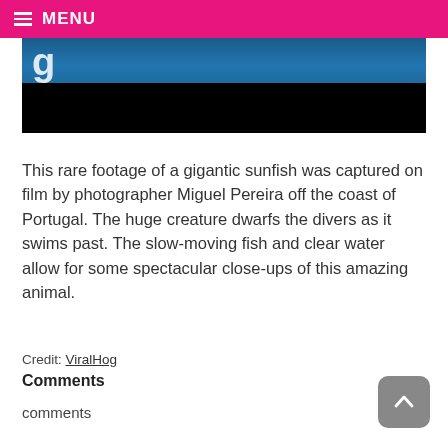MENU
[Figure (screenshot): Video thumbnail showing underwater footage with large letter visible and black bar at bottom, blue ocean water background]
This rare footage of a gigantic sunfish was captured on film by photographer Miguel Pereira off the coast of Portugal. The huge creature dwarfs the divers as it swims past. The slow-moving fish and clear water allow for some spectacular close-ups of this amazing animal.
Credit: ViralHog
Comments
comments